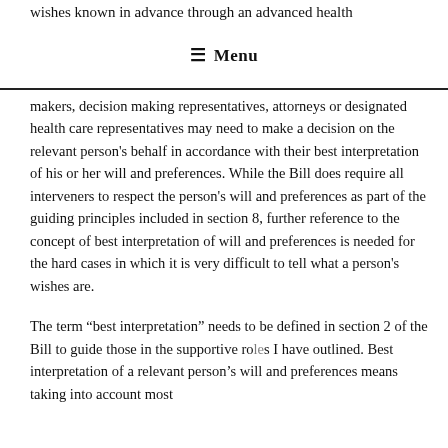wishes known in advance through an advanced health
≡ Menu
makers, decision making representatives, attorneys or designated health care representatives may need to make a decision on the relevant person's behalf in accordance with their best interpretation of his or her will and preferences. While the Bill does require all interveners to respect the person's will and preferences as part of the guiding principles included in section 8, further reference to the concept of best interpretation of will and preferences is needed for the hard cases in which it is very difficult to tell what a person's wishes are.
The term “best interpretation” needs to be defined in section 2 of the Bill to guide those in the supportive roles I have outlined. Best interpretation of a relevant person’s will and preferences means taking into account most